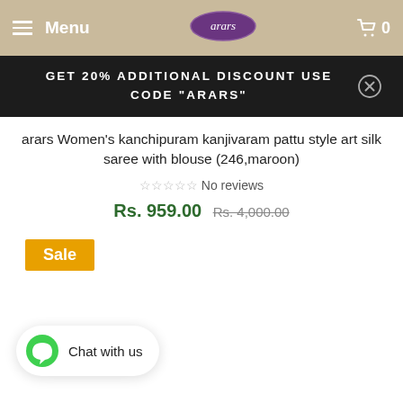Menu  arars  0
GET 20% ADDITIONAL DISCOUNT USE CODE "ARARS"
arars Women's kanchipuram kanjivaram pattu style art silk saree with blouse (246,maroon)
☆☆☆☆☆ No reviews
Rs. 959.00 Rs. 4,000.00
Sale
Chat with us